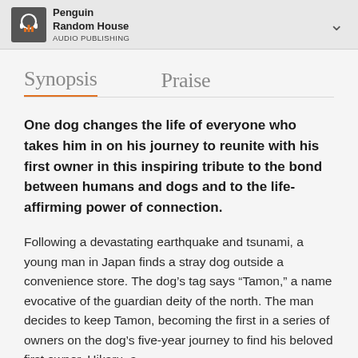Penguin Random House Audio Publishing
Synopsis   Praise
One dog changes the life of everyone who takes him in on his journey to reunite with his first owner in this inspiring tribute to the bond between humans and dogs and to the life-affirming power of connection.
Following a devastating earthquake and tsunami, a young man in Japan finds a stray dog outside a convenience store. The dog’s tag says “Tamon,” a name evocative of the guardian deity of the north. The man decides to keep Tamon, becoming the first in a series of owners on the dog’s five-year journey to find his beloved first owner, Hikaru, a